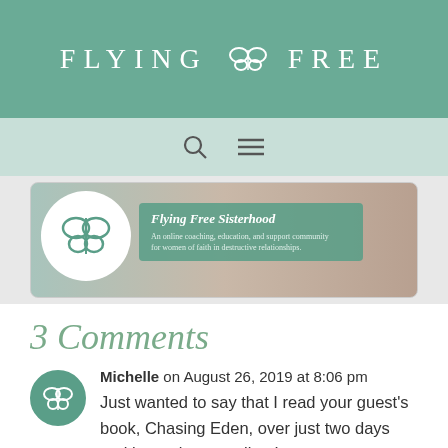FLYING FREE
[Figure (logo): Flying Free Sisterhood banner with logo and tagline: An online coaching, education, and support community for women of faith in destructive relationships.]
3 Comments
Michelle on August 26, 2019 at 8:06 pm
Just wanted to say that I read your guest's book, Chasing Eden, over just two days and it was just excellent!